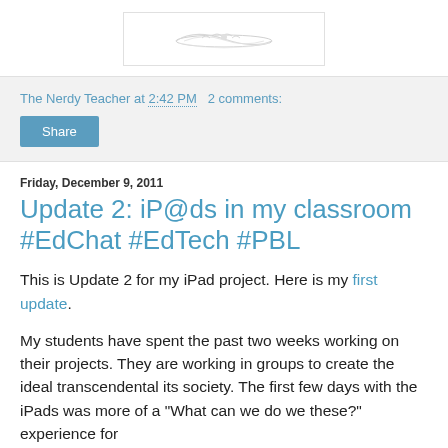[Figure (logo): Blog logo image with decorative design on white background with border]
The Nerdy Teacher at 2:42 PM   2 comments:
Share
Friday, December 9, 2011
Update 2: iP@ds in my classroom #EdChat #EdTech #PBL
This is Update 2 for my iPad project. Here is my first update.
My students have spent the past two weeks working on their projects. They are working in groups to create the ideal transcendental its society. The first few days with the iPads was more of a "What can we do we these?" experience for